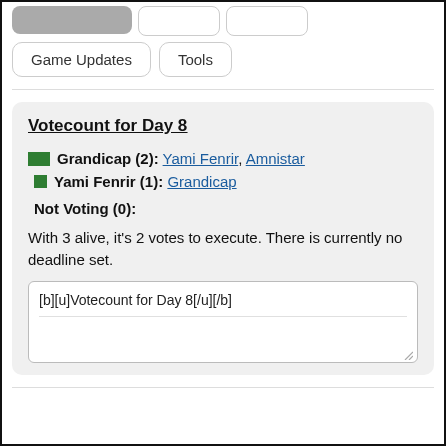Game Updates
Tools
Votecount for Day 8
Grandicap (2): Yami Fenrir, Amnistar
Yami Fenrir (1): Grandicap
Not Voting (0):
With 3 alive, it's 2 votes to execute. There is currently no deadline set.
[b][u]Votecount for Day 8[/u][/b]